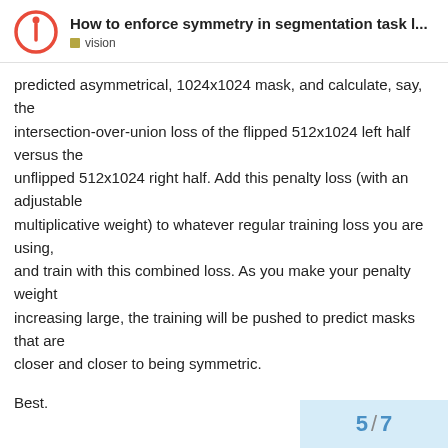How to enforce symmetry in segmentation task l... vision
predicted asymmetrical, 1024x1024 mask, and calculate, say, the intersection-over-union loss of the flipped 512x1024 left half versus the unflipped 512x1024 right half. Add this penalty loss (with an adjustable multiplicative weight) to whatever regular training loss you are using, and train with this combined loss. As you make your penalty weight increasing large, the training will be pushed to predict masks that are closer and closer to being symmetric.
Best.

K. Frank
5 / 7